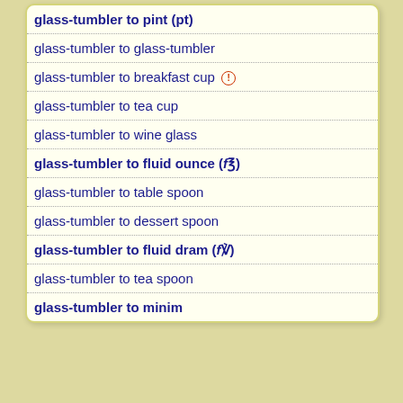glass-tumbler to pint (pt)
glass-tumbler to glass-tumbler
glass-tumbler to breakfast cup ⓘ
glass-tumbler to tea cup
glass-tumbler to wine glass
glass-tumbler to fluid ounce (f℥)
glass-tumbler to table spoon
glass-tumbler to dessert spoon
glass-tumbler to fluid dram (f℈)
glass-tumbler to tea spoon
glass-tumbler to minim